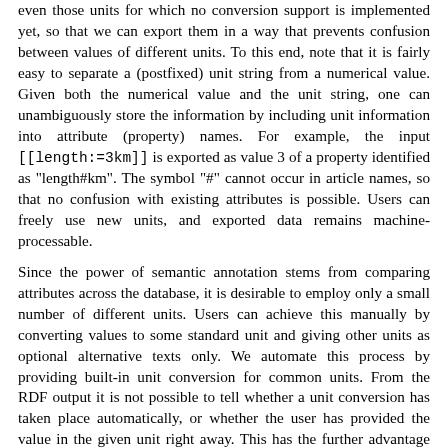even those units for which no conversion support is implemented yet, so that we can export them in a way that prevents confusion between values of different units. To this end, note that it is fairly easy to separate a (postfixed) unit string from a numerical value. Given both the numerical value and the unit string, one can unambiguously store the information by including unit information into attribute (property) names. For example, the input [[length:=3km]] is exported as value 3 of a property identified as "length#km". The symbol "#" cannot occur in article names, so that no confusion with existing attributes is possible. Users can freely use new units, and exported data remains machine-processable.
Since the power of semantic annotation stems from comparing attributes across the database, it is desirable to employ only a small number of different units. Users can achieve this manually by converting values to some standard unit and giving other units as optional alternative texts only. We automate this process by providing built-in unit conversion for common units. From the RDF output it is not possible to tell whether a unit conversion has taken place automatically, or whether the user has provided the value in the given unit right away. This has the further advantage that one can safely add unit support gradually, without affecting applications that already work with the exported data. Built-in unit support also allows us to provide automatic conversions inside the article text or infoboxes, providing immediate gratification for using attributes.